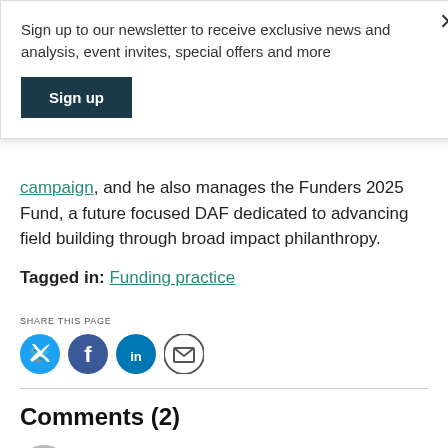Sign up to our newsletter to receive exclusive news and analysis, event invites, special offers and more
Sign up
campaign, and he also manages the Funders 2025 Fund, a future focused DAF dedicated to advancing field building through broad impact philanthropy.
Tagged in: Funding practice
SHARE THIS PAGE
[Figure (infographic): Social share icons: Twitter, Facebook, LinkedIn, Email]
Comments (2)
Bill Abrams